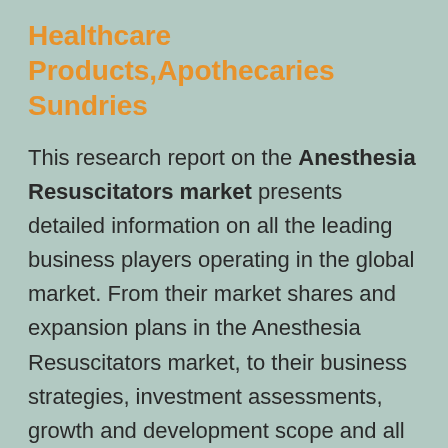Healthcare Products,Apothecaries Sundries
This research report on the Anesthesia Resuscitators market presents detailed information on all the leading business players operating in the global market. From their market shares and expansion plans in the Anesthesia Resuscitators market, to their business strategies, investment assessments, growth and development scope and all other granular information has been presented in ths research report to let you get a detailed and comprehensive overview on the performance of the key business players in the Anesthesia